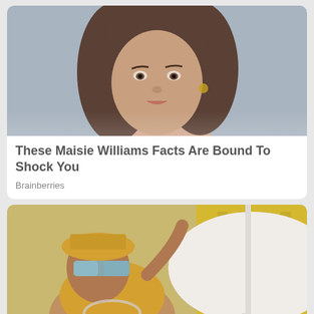[Figure (photo): Close-up portrait of a young woman with brown hair and gold earrings against a grey background]
These Maisie Williams Facts Are Bound To Shock You
Brainberries
[Figure (photo): Woman in yellow outfit and futuristic sunglasses lying on a lounge chair near a white round table outdoors]
This Look Is A Two-in-one That You Won't Forget